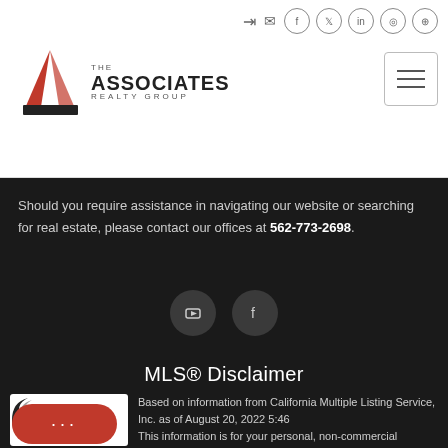[Figure (logo): The Associates Realty Group logo with red triangular A icon and company name]
Should you require assistance in navigating our website or searching for real estate, please contact our offices at 562-773-2698.
[Figure (illustration): Social media icon buttons: YouTube and Facebook circles on dark background]
MLS® Disclaimer
[Figure (logo): CRMLS logo - California Regional Multiple Listing Service]
Based on information from California Multiple Listing Service, Inc. as of August 20, 2022 5:46. This information is for your personal, non-commercial use and may not be used for any purpose other than to identify